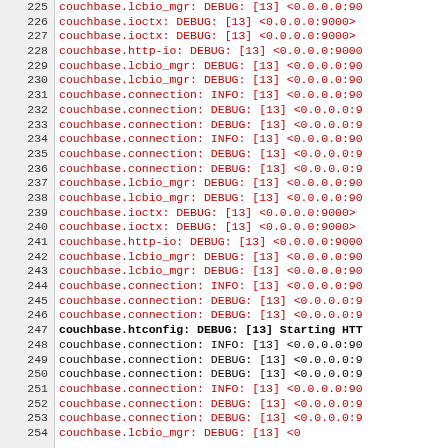[Figure (screenshot): Code/log viewer showing lines 225-254 of debug output from a Couchbase server log. Left column shows line numbers on grey background, right column shows log text. Most lines are red (debug/info log entries), line 247 is black (couchbase.htconfig DEBUG Starting HTT).]